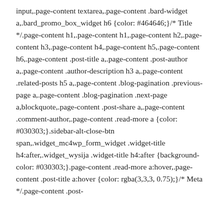input,.page-content textarea,.page-content .bard-widget a,.bard_promo_box_widget h6 {color: #464646;}/* Title */.page-content h1,.page-content h1,.page-content h2,.page-content h3,.page-content h4,.page-content h5,.page-content h6,.page-content .post-title a,.page-content .post-author a,.page-content .author-description h3 a,.page-content .related-posts h5 a,.page-content .blog-pagination .previous-page a,.page-content .blog-pagination .next-page a,blockquote,.page-content .post-share a,.page-content .comment-author,.page-content .read-more a {color: #030303;}.sidebar-alt-close-btn span,.widget_mc4wp_form_widget .widget-title h4:after,.widget_wysija .widget-title h4:after {background-color: #030303;}.page-content .read-more a:hover,.page-content .post-title a:hover {color: rgba(3,3,3, 0.75);}/* Meta */.page-content .post-